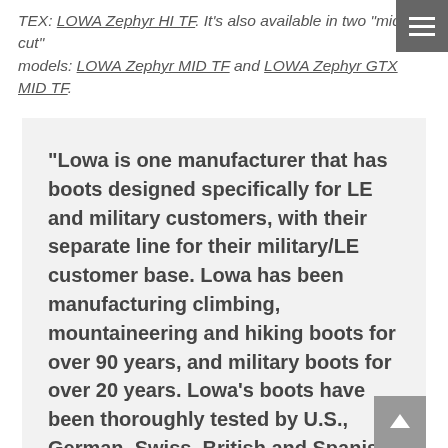TEX: LOWA Zephyr HI TF. It's also available in two "mid-cut" models: LOWA Zephyr MID TF and LOWA Zephyr GTX MID TF.
“Lowa is one manufacturer that has boots designed specifically for LE and military customers, with their separate line for their military/LE customer base. Lowa has been manufacturing climbing, mountaineering and hiking boots for over 90 years, and military boots for over 20 years. Lowa’s boots have been thoroughly tested by U.S., German, Swiss, British and Spanish military and security forces. Lowa is known worldwide for their high quality outdoor footwear, and their Task Force Collection focuses on the military, tactical, LE and other professional organizations that